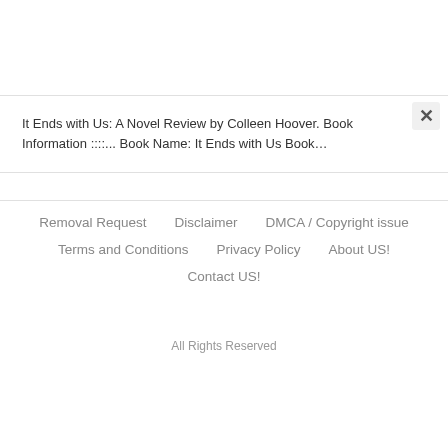It Ends with Us: A Novel Review by Colleen Hoover. Book Information ::::... Book Name: It Ends with Us Book…
Removal Request   Disclaimer   DMCA / Copyright issue   Terms and Conditions   Privacy Policy   About US!   Contact US!   All Rights Reserved